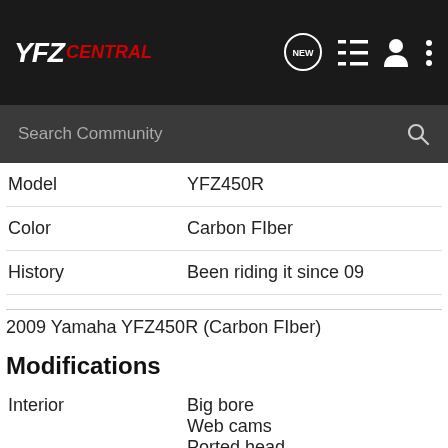YFZ CENTRAL
Search Community
| Model | YFZ450R |
| Color | Carbon FIber |
| History | Been riding it since 09 |
2009 Yamaha YFZ450R (Carbon FIber)
Modifications
| Interior | Big bore
Web cams
Ported head
HC piston
K6... |